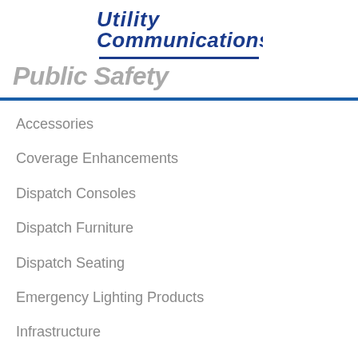[Figure (logo): Utility Communications, Inc. logo in blue italic bold font with underline]
Public Safety
Accessories
Coverage Enhancements
Dispatch Consoles
Dispatch Furniture
Dispatch Seating
Emergency Lighting Products
Infrastructure
LTE User Devices
Mobile Radios
Pagers